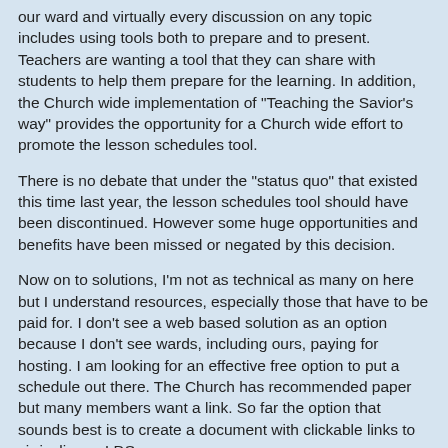our ward and virtually every discussion on any topic includes using tools both to prepare and to present. Teachers are wanting a tool that they can share with students to help them prepare for the learning. In addition, the Church wide implementation of "Teaching the Savior's way" provides the opportunity for a Church wide effort to promote the lesson schedules tool.
There is no debate that under the "status quo" that existed this time last year, the lesson schedules tool should have been discontinued. However some huge opportunities and benefits have been missed or negated by this decision.
Now on to solutions, I'm not as technical as many on here but I understand resources, especially those that have to be paid for. I don't see a web based solution as an option because I don't see wards, including ours, paying for hosting. I am looking for an effective free option to put a schedule out there. The Church has recommended paper but many members want a link. So far the option that sounds best is to create a document with clickable links to cirriculim on LDS.org
We have investigated the policy on Facebook groups and are going to set up a closed group for the ward using "friends of...."
there is a little known feature on groups called "files" where documents can be posted including a lessons schedule document. I have not tested this yet but it sounds like it should work.